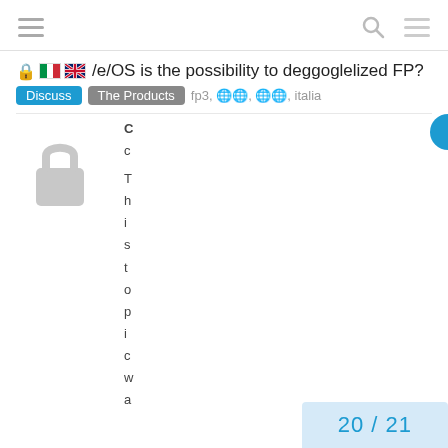Navigation header with hamburger menu, search icon, and menu icon
🔒 🇮🇹 🇬🇧 /e/OS is the possibility to deggoglelized FP?
Discuss | The Products   fp3, 🌐🌐, 🌐🌐, italia
[Figure (illustration): Large gray padlock icon indicating locked/closed topic]
C c
T h i s t o p i c...
20 / 21